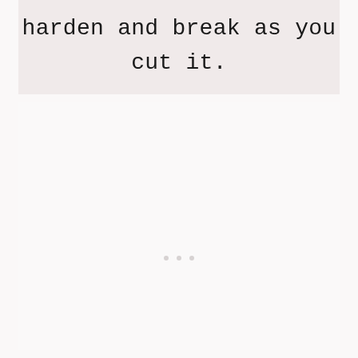harden and break as you cut it.
[Figure (other): Three small decorative dots centered on a light background, used as a section break or ornamental divider.]